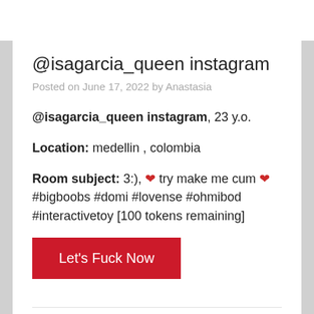@isagarcia_queen instagram
Posted on June 17, 2022 by Anastasia
@isagarcia_queen instagram, 23 y.o.
Location: medellin , colombia
Room subject: 3:), ❤ try make me cum ❤ #bigboobs #domi #lovense #ohmibod #interactivetoy [100 tokens remaining]
Let's Fuck Now
Chaturbate, Trans Cam